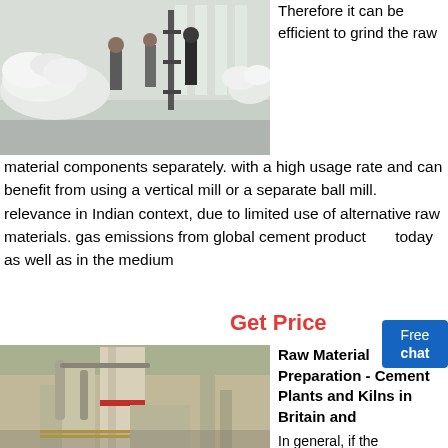[Figure (photo): Workers in a warehouse with piled white sacks/bags of raw material]
Therefore it can be efficient to grind the raw material components separately. with a high usage rate and can benefit from using a vertical mill or a separate ball mill. relevance in Indian context, due to limited use of alternative raw materials. gas emissions from global cement product today as well as in the medium
Free chat
Get Price
[Figure (photo): Industrial cement plant machinery with silos, pipes, and processing equipment]
Raw Material Preparation - Cement Plants and Kilns in Britain and
In general, if the requirements fo...